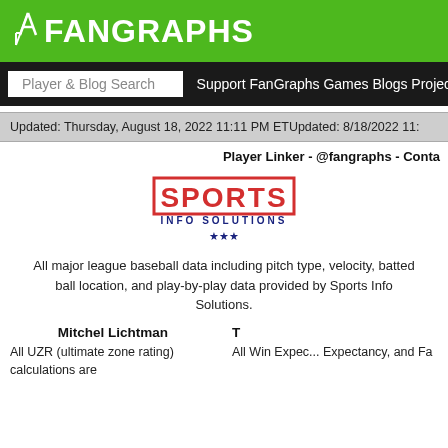FanGraphs
Player & Blog Search   Support FanGraphs Games Blogs Projectio...
Updated: Thursday, August 18, 2022 11:11 PM ETUpdated: 8/18/2022 11:...
Player Linker - @fangraphs - Conta...
[Figure (logo): Sports Info Solutions logo with red SPORTS text in bordered box, blue INFO SOLUTIONS text, and blue star decoration]
All major league baseball data including pitch type, velocity, batted ball location, and play-by-play data provided by Sports Info Solutions.
Mitchel Lichtman
All UZR (ultimate zone rating) calculations are
All Win Expec... Expectancy, and Fa...